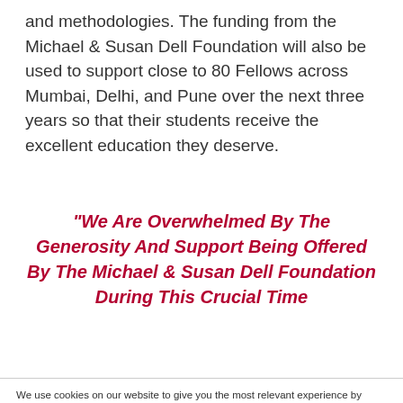and methodologies. The funding from the Michael & Susan Dell Foundation will also be used to support close to 80 Fellows across Mumbai, Delhi, and Pune over the next three years so that their students receive the excellent education they deserve.
“We Are Overwhelmed By The Generosity And Support Being Offered By The Michael & Susan Dell Foundation During This Crucial Time
We use cookies on our website to give you the most relevant experience by remembering your preferences and repeat visits. By clicking “Accept All”, you consent to the use of ALL the cookies. However, you may visit “Cookie Settings” to provide a controlled consent.